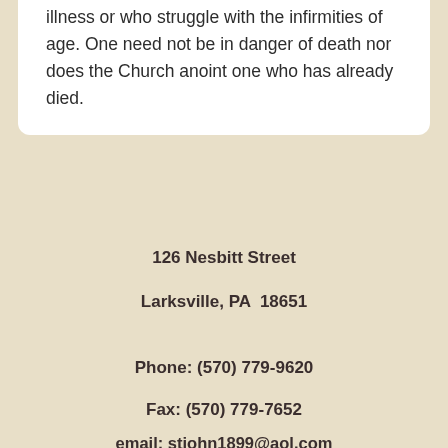illness or who struggle with the infirmities of age. One need not be in danger of death nor does the Church anoint one who has already died.
126 Nesbitt Street
Larksville, PA  18651
Phone: (570) 779-9620
Fax: (570) 779-7652
email: stjohn1899@aol.com